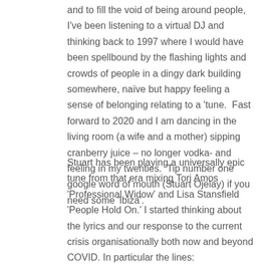and to fill the void of being around people, I've been listening to a virtual DJ and thinking back to 1997 where I would have been spellbound by the flashing lights and crowds of people in a dingy dark building somewhere, naïve but happy feeling a sense of belonging relating to a 'tune.  Fast forward to 2020 and I am dancing in the living room (a wife and a mother) sipping cranberry juice – no longer vodka- and feeling in my twenties.  Tip number one google word of mouth (Stuart Ojelay) if you need some 'Ibiza'.
Stuart has been playing a universally epic tune from that era mixing Tori Amos 'Professional Widow' and Lisa Stansfield 'People Hold On.' I started thinking about the lyrics and our response to the current crisis organisationally both now and beyond COVID. In particular the lines: